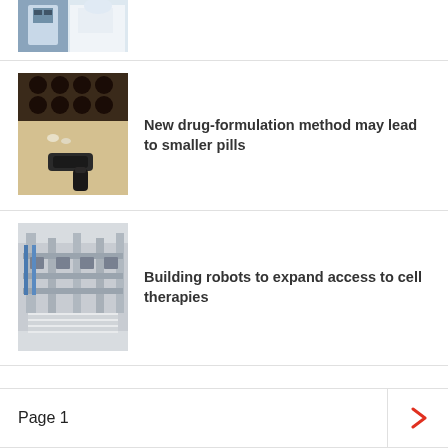[Figure (photo): Partial view of a person in a white lab coat working at laboratory equipment]
[Figure (photo): Close-up of pharmaceutical pill formulation equipment with small pills and capsules on a beige tray]
New drug-formulation method may lead to smaller pills
[Figure (photo): Industrial robotic assembly line equipment in a laboratory or manufacturing facility for cell therapies]
Building robots to expand access to cell therapies
Page 1